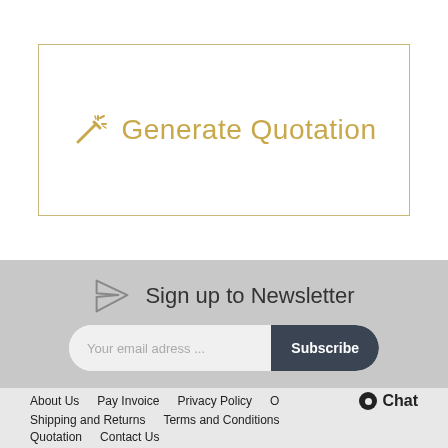[Figure (screenshot): Generate Quotation button with magic wand icon inside a gold-bordered box]
Sign up to Newsletter
Your email adress ...
Subscribe
About Us  Pay Invoice  Privacy Policy  O  Chat  Shipping and Returns  Terms and Conditions  Quotation  Contact Us